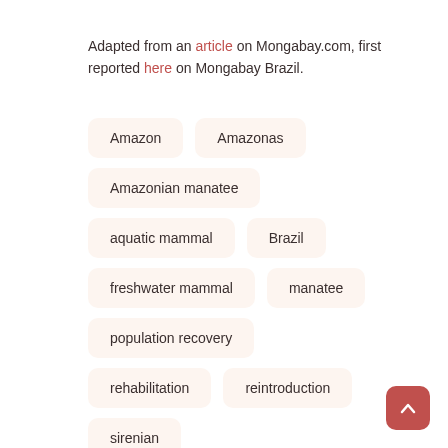Adapted from an article on Mongabay.com, first reported here on Mongabay Brazil.
Amazon
Amazonas
Amazonian manatee
aquatic mammal
Brazil
freshwater mammal
manatee
population recovery
rehabilitation
reintroduction
sirenian